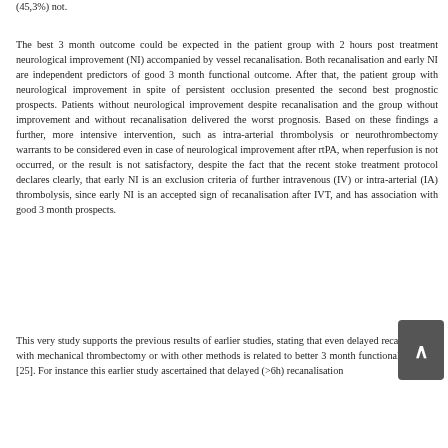(45,3%) not.
The best 3 month outcome could be expected in the patient group with 2 hours post treatment neurological improvement (NI) accompanied by vessel recanalisation. Both recanalisation and early NI are independent predictors of good 3 month functional outcome. After that, the patient group with neurological improvement in spite of persistent occlusion presented the second best prognostic prospects. Patients without neurological improvement despite recanalisation and the group without improvement and without recanalisation delivered the worst prognosis. Based on these findings a further, more intensive intervention, such as intra-arterial thrombolysis or neurothrombectomy warrants to be considered even in case of neurological improvement after rtPA, when reperfusion is not occurred, or the result is not satisfactory, despite the fact that the recent stoke treatment protocol declares clearly, that early NI is an exclusion criteria of further intravenous (IV) or intra-arterial (IA) thrombolysis, since early NI is an accepted sign of recanalisation after IVT, and has association with good 3 month prospects.
This very study supports the previous results of earlier studies, stating that even delayed recanalisation with mechanical thrombectomy or with other methods is related to better 3 month functional outcome [25]. For instance this earlier study ascertained that delayed (>6h) recanalisation